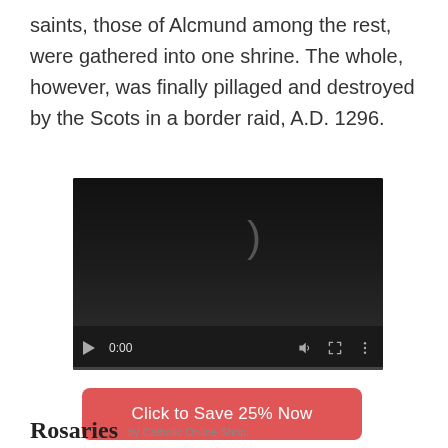saints, those of Alcmund among the rest, were gathered into one shrine. The whole, however, was finally pillaged and destroyed by the Scots in a border raid, A.D. 1296.
[Figure (screenshot): Embedded video player with dark background, showing a circular loading/pause symbol, playback controls (play button, 0:00 timestamp, volume, fullscreen, more options icons), and a progress bar at the bottom.]
[Figure (other): Red rounded rectangle button with white text: 'Click to Save 25% Now']
Rosaries by Catholic Online Shopping...